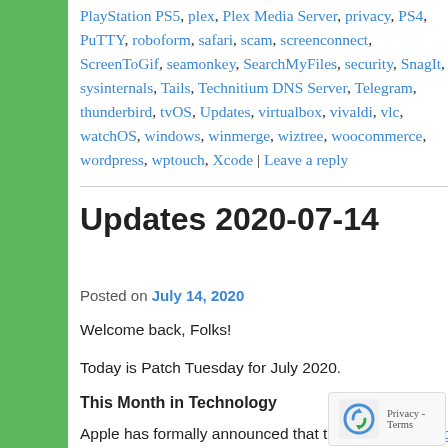PlayStation PS5, plex, Plex Media Server, privacy, PS4, PuTTY, roboform, safari, scam, screenconnect, ScreenToGif, seamonkey, SearchMyFiles, security, SnagIt, sysinternals, Tails, Technitium DNS Server, Telegram, thunderbird, tvOS, Updates, virtualbox, vivaldi, vlc, watchOS, windows, winmerge, wiztree, woocommerce, wordpress, wptouch, Xcode | Leave a reply
Updates 2020-07-14
Posted on July 14, 2020
Welcome back, Folks!
Today is Patch Tuesday for July 2020.
This Month in Technology
Apple has formally announced that they'll be switching to ARM processors on their new hardware. While Apple asserts that “most apps will just work,” the truth is that if it’s not a 64-bit app or it hasn’t been updated in more than